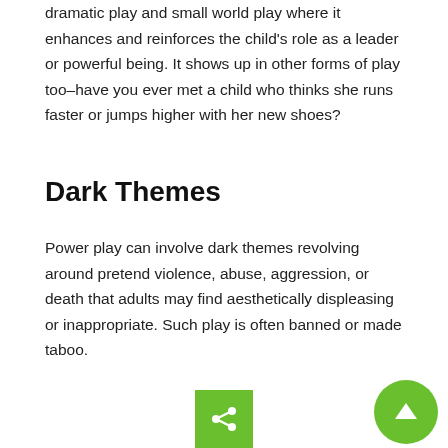dramatic play and small world play where it enhances and reinforces the child's role as a leader or powerful being. It shows up in other forms of play too–have you ever met a child who thinks she runs faster or jumps higher with her new shoes?
Dark Themes
Power play can involve dark themes revolving around pretend violence, abuse, aggression, or death that adults may find aesthetically displeasing or inappropriate. Such play is often banned or made taboo.